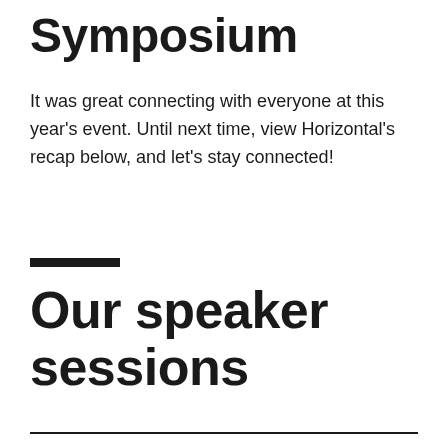Symposium
It was great connecting with everyone at this year's event. Until next time, view Horizontal's recap below, and let's stay connected!
Our speaker sessions